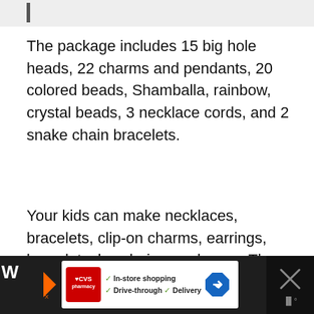[Figure (screenshot): Top navigation bar area with grey background and dark vertical accent bar]
The package includes 15 big hole heads, 22 charms and pendants, 20 colored beads, Shamballa, rainbow, crystal beads, 3 necklace cords, and 2 snake chain bracelets.
Your kids can make necklaces, bracelets, clip-on charms, earrings, bracelets, keychains, and more. They can get as creative as they want and will spend hours making beautiful, unique pieces.
[Figure (screenshot): Bottom advertisement bar showing CVS Pharmacy ad with In-store shopping, Drive-through, and Delivery options, navigation arrow icon, and a close X button on the right]